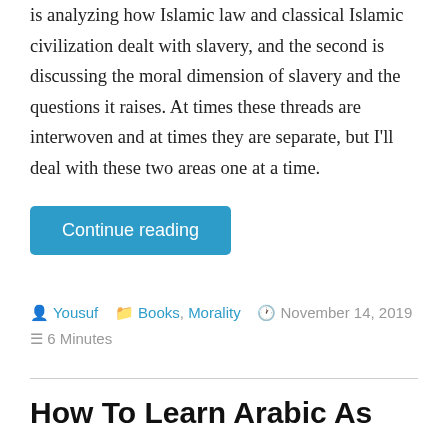is analyzing how Islamic law and classical Islamic civilization dealt with slavery, and the second is discussing the moral dimension of slavery and the questions it raises. At times these threads are interwoven and at times they are separate, but I'll deal with these two areas one at a time.
Continue reading
Yousuf   Books, Morality   November 14, 2019   6 Minutes
How To Learn Arabic As